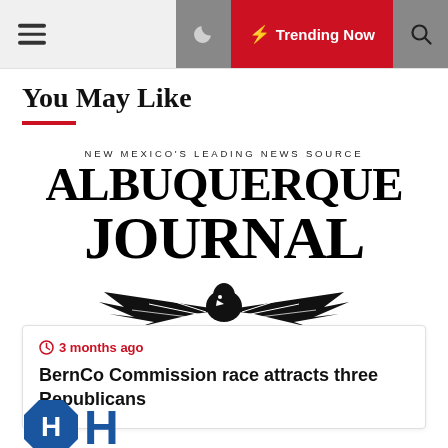≡  🌙  ⚡ Trending Now  🔍
You May Like
[Figure (logo): Albuquerque Journal newspaper logo. Tagline: NEW MEXICO'S LEADING NEWS SOURCE. Large bold serif text: ALBUQUERQUE JOURNAL with an eagle/wings emblem below.]
3 months ago
BernCo Commission race attracts three Republicans
[Figure (logo): Partial logo visible at bottom of page, blue octagonal shape with letter H]